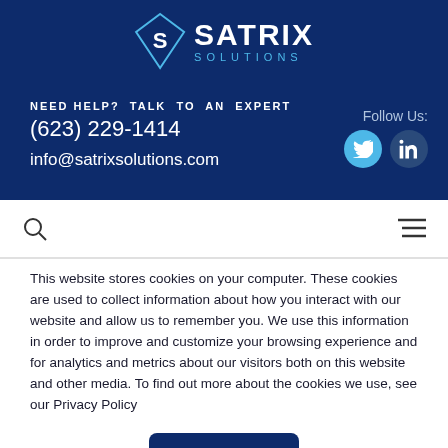[Figure (logo): Satrix Solutions logo with diamond S icon and company name]
NEED HELP? TALK TO AN EXPERT
(623) 229-1414
info@satrixsolutions.com
Follow Us:
[Figure (logo): Twitter and LinkedIn social media icons]
This website stores cookies on your computer. These cookies are used to collect information about how you interact with our website and allow us to remember you. We use this information in order to improve and customize your browsing experience and for analytics and metrics about our visitors both on this website and other media. To find out more about the cookies we use, see our Privacy Policy
Accept